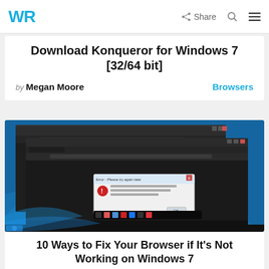WR | Share
Download Konqueror for Windows 7 [32/64 bit]
by Megan Moore  Browsers
[Figure (screenshot): Screenshot of a Windows 7 desktop showing a dark-themed browser window with an error dialog box in the foreground. The dialog has a red error icon and some text. Windows 7 taskbar is visible at the bottom.]
10 Ways to Fix Your Browser if It's Not Working on Windows 7